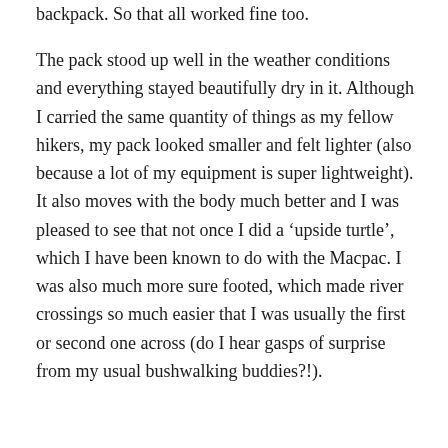backpack. So that all worked fine too.
The pack stood up well in the weather conditions and everything stayed beautifully dry in it. Although I carried the same quantity of things as my fellow hikers, my pack looked smaller and felt lighter (also because a lot of my equipment is super lightweight). It also moves with the body much better and I was pleased to see that not once I did a ‘upside turtle’, which I have been known to do with the Macpac. I was also much more sure footed, which made river crossings so much easier that I was usually the first or second one across (do I hear gasps of surprise from my usual bushwalking buddies?!).